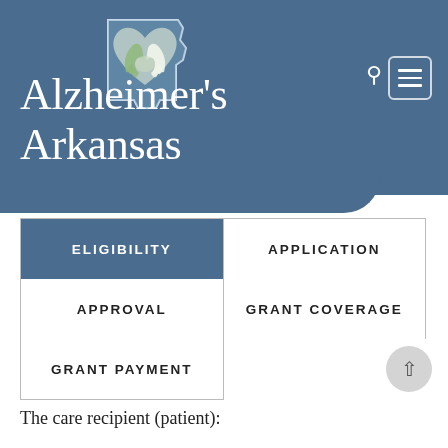[Figure (logo): Alzheimer's Arkansas logo: Arkansas state outline with handshake and heart imagery inside, in blue and green on a blue banner background]
Alzheimer's Arkansas
| ELIGIBILITY | APPLICATION |
| --- | --- |
| APPROVAL | GRANT COVERAGE |
| GRANT PAYMENT |  |
The care recipient (patient):